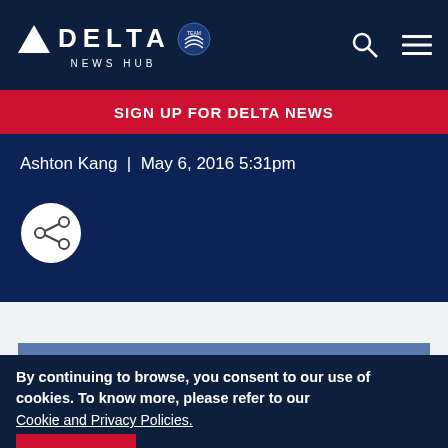DELTA NEWS HUB
SIGN UP FOR DELTA NEWS
Ashton Kang  |  May 6, 2016 5:31pm
[Figure (infographic): Share icon button (circle with share nodes)]
[Figure (infographic): Blue banner reading DELTA NEWS ON THE GO. Subscribe and follow.]
By continuing to browse, you consent to our use of cookies. To know more, please refer to our Cookie and Privacy Policies.